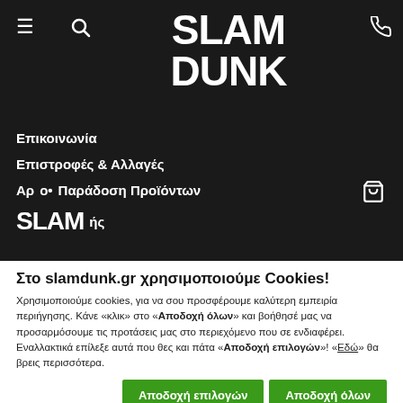[Figure (screenshot): Slam Dunk website header with dark background, hamburger menu, search icon, SLAM DUNK logo, phone icon, navigation menu items in Greek, cart icon, and partial SLAM logo]
Στο slamdunk.gr χρησιμοποιούμε Cookies!
Χρησιμοποιούμε cookies, για να σου προσφέρουμε καλύτερη εμπειρία περιήγησης. Κάνε «κλικ» στο «Αποδοχή όλων» και βοήθησέ μας να προσαρμόσουμε τις προτάσεις μας στο περιεχόμενο που σε ενδιαφέρει. Εναλλακτικά επίλεξε αυτά που θες και πάτα «Αποδοχή επιλογών»! «Εδώ» θα βρεις περισσότερα.